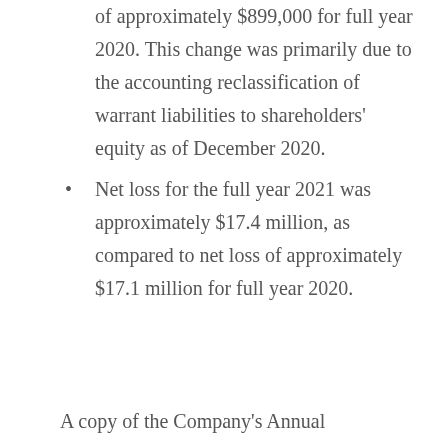of approximately $899,000 for full year 2020. This change was primarily due to the accounting reclassification of warrant liabilities to shareholders' equity as of December 2020.
Net loss for the full year 2021 was approximately $17.4 million, as compared to net loss of approximately $17.1 million for full year 2020.
A copy of the Company's Annual